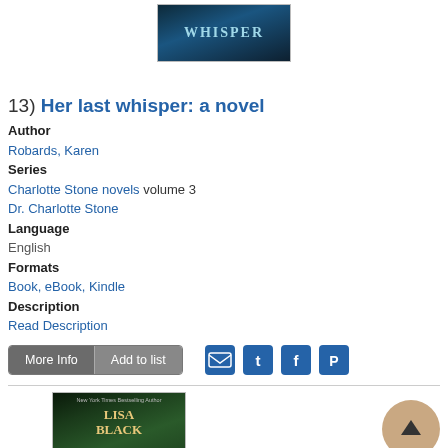[Figure (photo): Book cover for 'Her Last Whisper' partially visible at top]
[Figure (other): Five empty/outline star rating widget]
13)  Her last whisper: a novel
Author
Robards, Karen
Series
Charlotte Stone novels volume 3
Dr. Charlotte Stone
Language
English
Formats
Book, eBook, Kindle
Description
Read Description
[Figure (other): More Info and Add to list buttons, plus email, Twitter, Facebook, Pinterest social sharing icons]
[Figure (photo): Book cover for a Lisa Black novel showing 'THAT' text, partially visible]
[Figure (other): Back to top circular button with upward arrow]